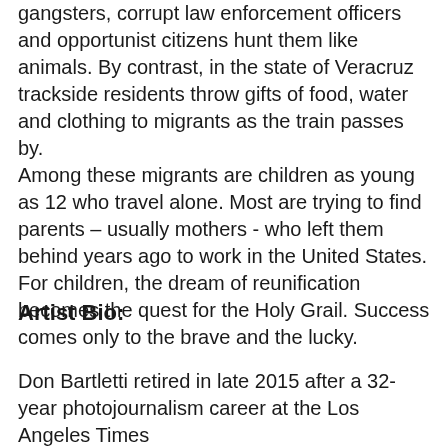gangsters, corrupt law enforcement officers and opportunist citizens hunt them like animals. By contrast, in the state of Veracruz trackside residents throw gifts of food, water and clothing to migrants as the train passes by. Among these migrants are children as young as 12 who travel alone. Most are trying to find parents – usually mothers - who left them behind years ago to work in the United States. For children, the dream of reunification becomes the quest for the Holy Grail. Success comes only to the brave and the lucky.
Artist Bio:
Don Bartletti retired in late 2015 after a 32-year photojournalism career at the Los Angeles Times